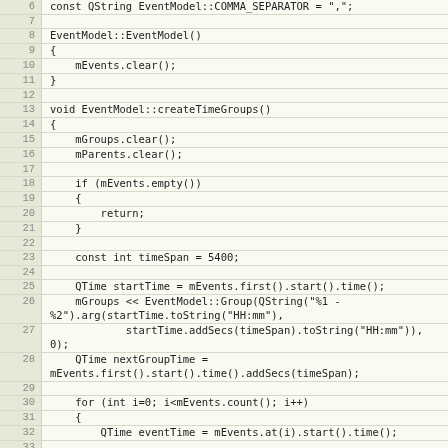[Figure (screenshot): Source code listing showing C++ code for EventModel class methods, with line numbers 6-35 visible. Lines show constructor EventModel::EventModel(), method createTimeGroups(), with logic for clearing groups, checking empty events, setting timeSpan, computing startTime, building groups, and iterating over events.]